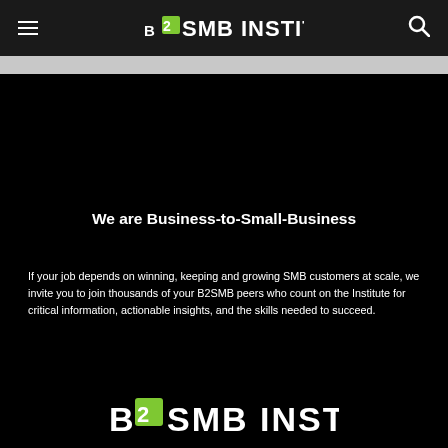B2SMB INSTITUTE
We are Business-to-Small-Business
If your job depends on winning, keeping and growing SMB customers at scale, we invite you to join thousands of your B2SMB peers who count on the Institute for critical information, actionable insights, and the skills needed to succeed.
[Figure (logo): B2SMB Institute logo in white and green at the bottom of the page]